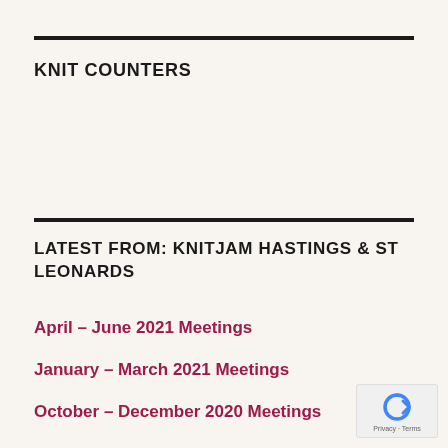KNIT COUNTERS
LATEST FROM: KNITJAM HASTINGS & ST LEONARDS
April – June 2021 Meetings
January – March 2021 Meetings
October – December 2020 Meetings